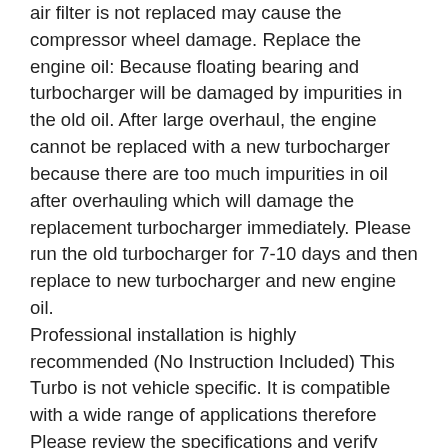air filter is not replaced may cause the compressor wheel damage. Replace the engine oil: Because floating bearing and turbocharger will be damaged by impurities in the old oil. After large overhaul, the engine cannot be replaced with a new turbocharger because there are too much impurities in oil after overhauling which will damage the replacement turbocharger immediately. Please run the old turbocharger for 7-10 days and then replace to new turbocharger and new engine oil.
Professional installation is highly recommended (No Instruction Included) This Turbo is not vehicle specific. It is compatible with a wide range of applications therefore Please review the specifications and verify compatibility prior to placing your order.
Other items you might also like. Universal Turbo Turbocharger T3 T4 T04E trim 73 44 V-band Oil cool 2.0-3.5L. 70 Anti-Surge compressor turbo Turbocharger. Will this fit my car? Please make sure you have read through